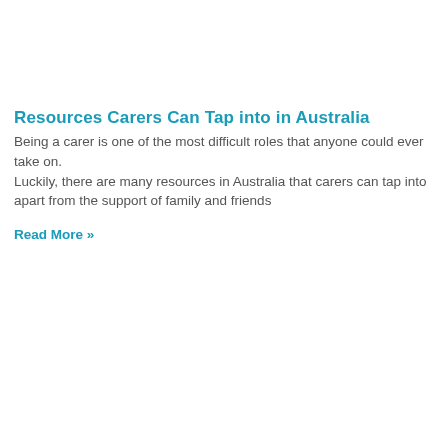Resources Carers Can Tap into in Australia
Being a carer is one of the most difficult roles that anyone could ever take on.
Luckily, there are many resources in Australia that carers can tap into apart from the support of family and friends
Read More »